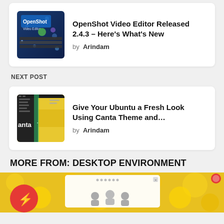[Figure (screenshot): OpenShot Video Editor app thumbnail with blue space background]
OpenShot Video Editor Released 2.4.3 - Here's What's New
by Arindam
NEXT POST
[Figure (screenshot): Canta Theme desktop screenshot showing dark panel with yellow wallpaper]
Give Your Ubuntu a Fresh Look Using Canta Theme and...
by Arindam
MORE FROM: DESKTOP ENVIRONMENT
[Figure (screenshot): Preview strip showing a desktop screenshot with yellow bokeh background and a red lightning bolt icon overlay]